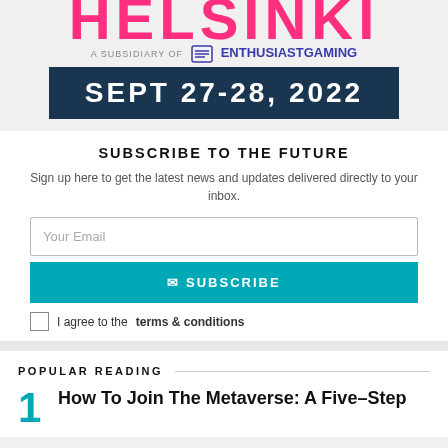[Figure (logo): Helsinki event banner showing pink HELSINKI text, 'A SUBSIDIARY OF Enthusiast Gaming' tagline, and dark navy SEPT 27-28, 2022 date banner]
SUBSCRIBE TO THE FUTURE
Sign up here to get the latest news and updates delivered directly to your inbox.
Your Email
✉ SUBSCRIBE
I agree to the terms & conditions
POPULAR READING
How To Join The Metaverse: A Five-Step